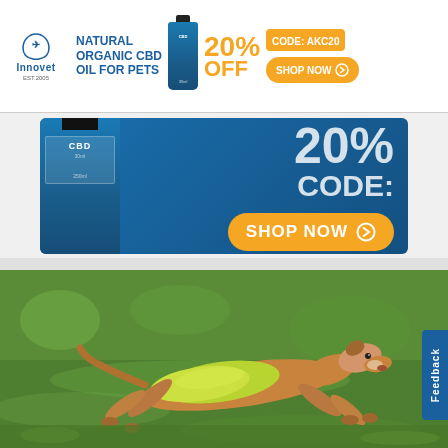[Figure (advertisement): Innovet CBD oil banner ad: 'NATURAL ORGANIC CBD OIL FOR PETS', 20% OFF, CODE: AKC20, SHOP NOW button]
[Figure (advertisement): Large Innovet CBD oil ad on blue background showing bottle, 20%, CODE:, and SHOP NOW orange button]
[Figure (photo): A greyhound/whippet dog wearing a yellow-green vest/jacket, running at full stretch on green grass]